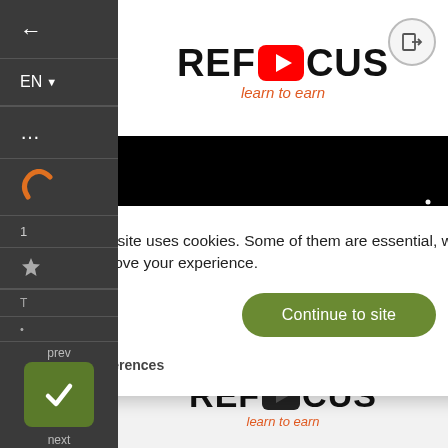[Figure (screenshot): Left sidebar navigation with back arrow, EN language selector, ellipsis menu, orange icon, numbered item, star, prev/next navigation with green checkmark button]
[Figure (logo): REFOCUS learn to earn logo with YouTube play button icon replacing the O]
[Figure (screenshot): Black video player area]
This site uses cookies. Some of them are essential, while others help us improve your experience.
Continue to site
Preferences
[Figure (logo): Clym logo in cookie consent banner footer]
[Figure (logo): REFOCUS learn to earn logo at bottom of page]